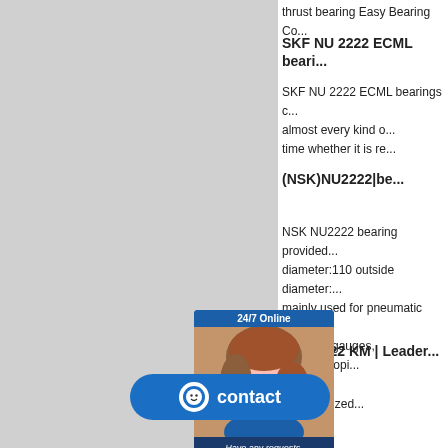thrust bearing Easy Bearing Co...
SKF NU 2222 ECML beari...
SKF NU 2222 ECML bearings c... almost every kind o... time whether it is re...
(NSK)NU2222|be...
NSK NU2222 bearing provided... diameter:110 outside diameter:... mainly used for pneumatic cyli... pressure gauges, spectroscopi...
SKF 2222 KM | Leader
Leader... ized...
[Figure (screenshot): 24/7 online chat widget with woman wearing headset, message bubble and Quotation button]
[Figure (screenshot): Blue contact button with smiley face icon]